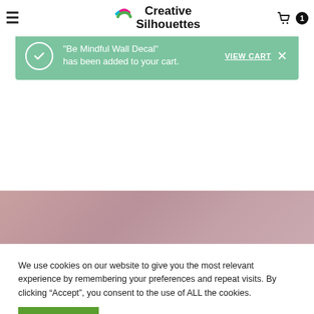Creative Silhouettes
"Be Mindful Wall Decal" has been added to your cart. VIEW CART
[Figure (other): Rose/mauve colored gradient banner strip]
We use cookies on our website to give you the most relevant experience by remembering your preferences and repeat visits. By clicking “Accept”, you consent to the use of ALL the cookies.
ACCEPT